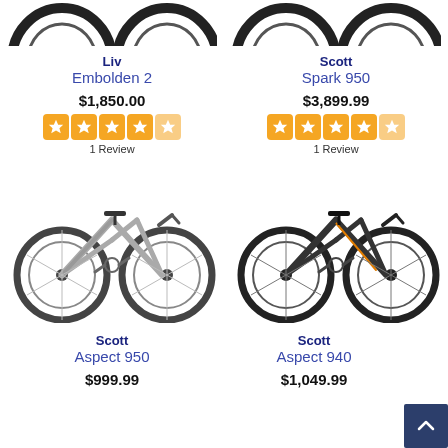[Figure (photo): Partial view of Liv Embolden 2 mountain bike tires at top]
[Figure (photo): Partial view of Scott Spark 950 mountain bike tires at top]
Liv
Embolden 2
$1,850.00
[Figure (other): 5-star rating graphic for Liv Embolden 2]
1 Review
Scott
Spark 950
$3,899.99
[Figure (other): 5-star rating graphic for Scott Spark 950]
1 Review
[Figure (photo): Scott Aspect 950 mountain bike, silver/grey color]
[Figure (photo): Scott Aspect 940 mountain bike, dark/black color]
Scott
Aspect 950
$999.99
Scott
Aspect 940
$1,049.99